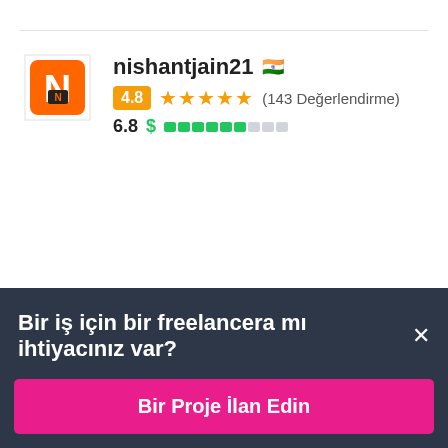[Figure (logo): nishantjain21 logo — orange/black N logo mark]
nishantjain21 🇮🇳  4.8 ★★★★★ (143 Değerlendirme)  6.8 $ ██████░░░
[Figure (photo): iGTTech profile photo — woman with dark hair on black background]
iGTTech 🇺🇸  1 gün içinde  %bids___i_sum_sub_32%%project_currencyD
Bir iş için bir freelancera mı ihtiyacınız var? ×
Bir Proje İlan Edin